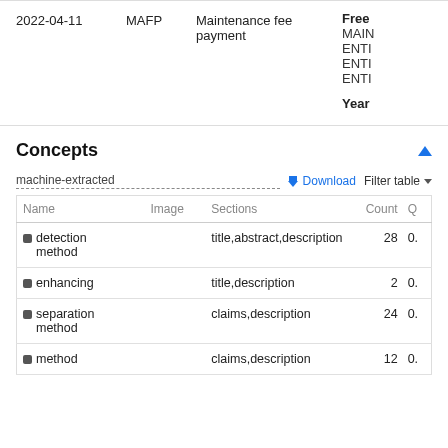| Date | Code | Description | Details |
| --- | --- | --- | --- |
| 2022-04-11 | MAFP | Maintenance fee payment | Free
MAIN
ENTI
ENTI
ENTI
Year |
Concepts
machine-extracted
| Name | Image | Sections | Count | Q |
| --- | --- | --- | --- | --- |
| detection method |  | title,abstract,description | 28 | 0. |
| enhancing |  | title,description | 2 | 0. |
| separation method |  | claims,description | 24 | 0. |
| method |  | claims,description | 12 | 0. |